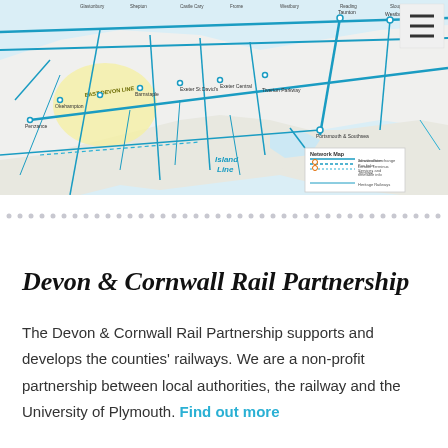[Figure (map): UK rail network map showing train routes across England, with the East Devon Line highlighted in yellow. Shows various station names, routes in blue, and a network map legend in the bottom right corner. Island Line is labeled in the lower center area.]
Devon & Cornwall Rail Partnership
The Devon & Cornwall Rail Partnership supports and develops the counties' railways. We are a non-profit partnership between local authorities, the railway and the University of Plymouth. Find out more